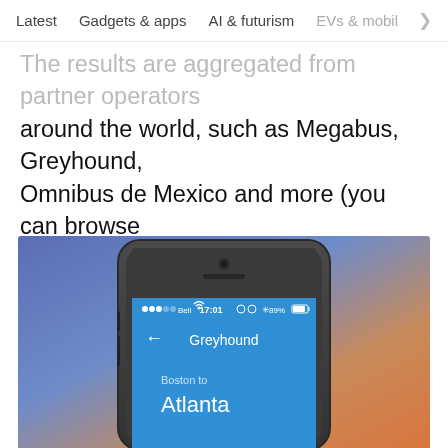Latest   Gadgets & apps   AI & futurism   EVs & mobil  >
The results are aggregated from partner operators around the world, such as Megabus, Greyhound, Omnibus de Mexico and more (you can browse through the available cities here).
[Figure (screenshot): Smartphone screenshot showing a bus booking app with Greyhound route from Boston to Atlanta, displayed at 17:01 with 89% battery on Bell network, set against a purple-to-orange gradient background]